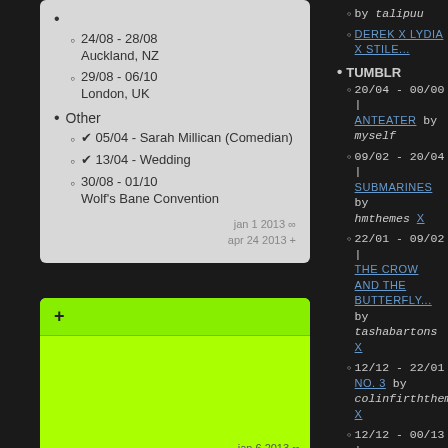24/08 - 28/08 Auckland, NZ
29/08 - 06/10 London, UK
Other
✔ 05/04 - Sarah Millican (Comedian)
✔ 13/04 - Wedding
30/08 - 01/10 Wolf's Bane Convention
jan 1 2013 ∞
apr 24 2013 +
+
jan 6 2013 ∞
jan 6 2013 +
by talipuu
DEREK X LYDIA X STILE...
TUMBLR
20/04 - 00/00 | ANTEATER by myself
09/02 - 20/04 | SUBMARINES by hmthemes x
22/01 - 09/02 | THE CROW AND THE BUTTERFLY... by tashabartons x
12/12 - 22/01 | NO. 3 by colinfirththeme x
12/12 - 00/13 | PAGES by lmthemes x
PHONE
10/03 - 00/00 | LYDIA lockscreen